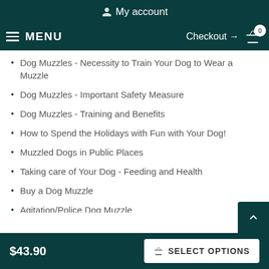My account
MENU  Checkout → 0
Dog Muzzles - Necessity to Train Your Dog to Wear a Muzzle
Dog Muzzles - Important Safety Measure
Dog Muzzles - Training and Benefits
How to Spend the Holidays with Fun with Your Dog!
Muzzled Dogs in Public Places
Taking care of Your Dog - Feeding and Health
Buy a Dog Muzzle
Agitation/Police Dog Muzzle
Dog Muzzle Barking
How to Choose dog muzzle
$43.90  SELECT OPTIONS